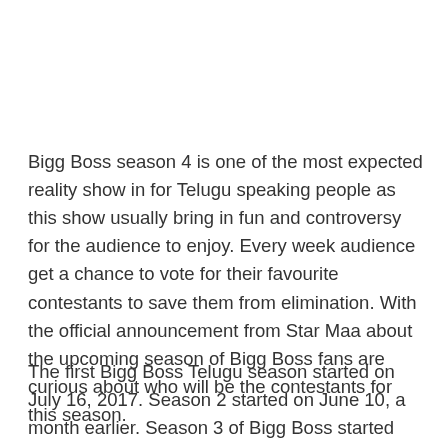Bigg Boss season 4 is one of the most expected reality show in for Telugu speaking people as this show usually bring in fun and controversy for the audience to enjoy. Every week audience get a chance to vote for their favourite contestants to save them from elimination. With the official announcement from Star Maa about the upcoming season of Bigg Boss fans are curious about who will be the contestants for this season.
The first Bigg Boss Telugu season started on July 16, 2017. Season 2 started on June 10, a month earlier. Season 3 of Bigg Boss started again on July 21, 2020. Season 4, however